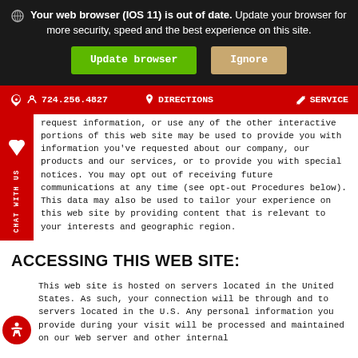Your web browser (IOS 11) is out of date. Update your browser for more security, speed and the best experience on this site. [Update browser] [Ignore]
724.256.4827   DIRECTIONS   SERVICE
request information, or use any of the other interactive portions of this web site may be used to provide you with information you've requested about our company, our products and our services, or to provide you with special notices. You may opt out of receiving future communications at any time (see opt-out Procedures below). This data may also be used to tailor your experience on this web site by providing content that is relevant to your interests and geographic region.
ACCESSING THIS WEB SITE:
This web site is hosted on servers located in the United States. As such, your connection will be through and to servers located in the U.S. Any personal information you provide during your visit will be processed and maintained on our Web server and other internal